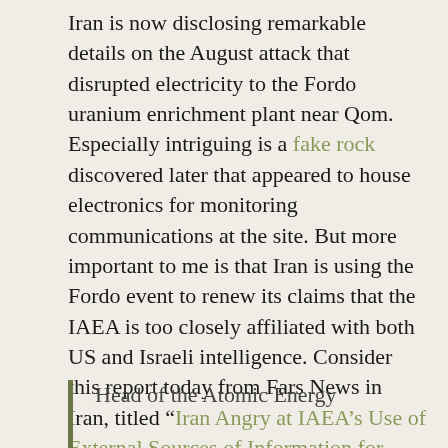Iran is now disclosing remarkable details on the August attack that disrupted electricity to the Fordo uranium enrichment plant near Qom. Especially intriguing is a fake rock discovered later that appeared to house electronics for monitoring communications at the site. But more important to me is that Iran is using the Fordo event to renew its claims that the IAEA is too closely affiliated with both US and Israeli intelligence. Consider this report today from Fars News in Iran, titled “Iran Angry at IAEA’s Use of External Sources of Information for Reports”. The article begins by lamenting that IAEA relies on information from US and Israeli intelligence:
Head of the Atomic Energy